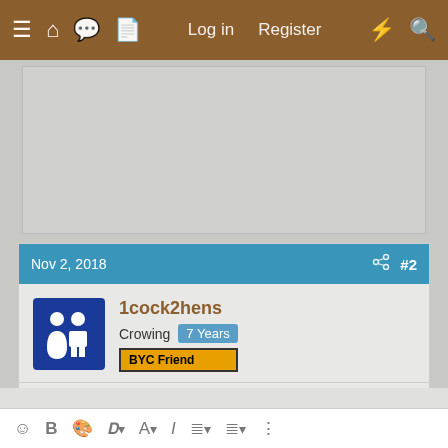≡  🏠  💬  📄    Log in   Register   ⚡   🔍
[Figure (other): Advertisement placeholder block (gray rectangle)]
Nov 2, 2018   #2
[Figure (other): Avatar icon: blue square with two white human silhouettes (man and woman figures)]
1cock2hens
Crowing  7 Years
BYC Friend
you should put your location in your profile. welcome to byc
↑  ↓  ↩ Reply